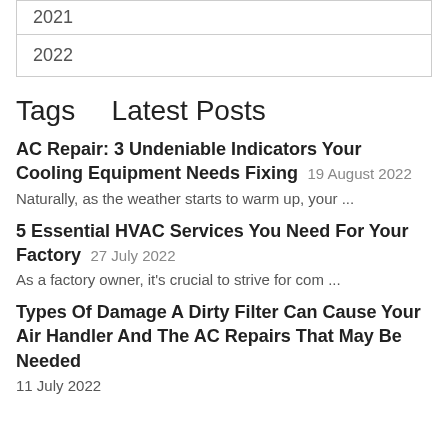| 2021 |
| 2022 |
Tags
Latest Posts
AC Repair: 3 Undeniable Indicators Your Cooling Equipment Needs Fixing 19 August 2022
Naturally, as the weather starts to warm up, your ...
5 Essential HVAC Services You Need For Your Factory 27 July 2022
As a factory owner, it's crucial to strive for com ...
Types Of Damage A Dirty Filter Can Cause Your Air Handler And The AC Repairs That May Be Needed
11 July 2022